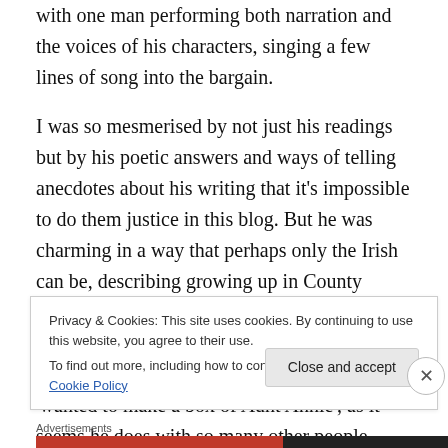with one man performing both narration and the voices of his characters, singing a few lines of song into the bargain.
I was so mesmerised by not just his readings but by his poetic answers and ways of telling anecdotes about his writing that it's impossible to do them justice in this blog. But he was charming in a way that perhaps only the Irish can be, describing growing up in County Wicklow with Aunt Annie, and the inspiration for his writing, which uses family members like her to create characters.  He said he 'wanted to make a box of Aunt Annie', as it seems he does with so many other people, something to preserve their
Privacy & Cookies: This site uses cookies. By continuing to use this website, you agree to their use.
To find out more, including how to control cookies, see here: Cookie Policy
Close and accept
Advertisements